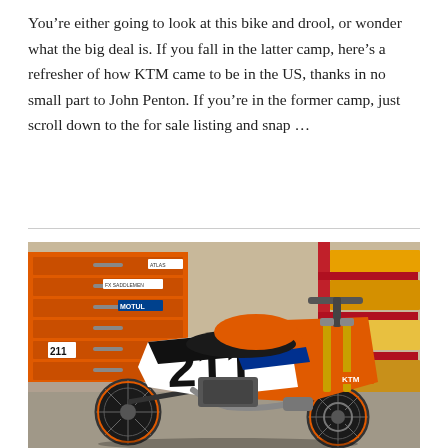You're either going to look at this bike and drool, or wonder what the big deal is. If you fall in the latter camp, here's a refresher of how KTM came to be in the US, thanks in no small part to John Penton. If you're in the former camp, just scroll down to the for sale listing and snap ...
[Figure (photo): KTM orange and white supermoto motorcycle with number 211, parked in a garage with orange tool chests and shelving in the background. The bike has gold forks, a Motul sticker on the tool chest, and various sponsor stickers.]